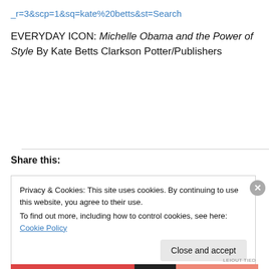_r=3&scp=1&sq=kate%20betts&st=Search
EVERYDAY ICON: Michelle Obama and the Power of Style By Kate Betts Clarkson Potter/Publishers
Share this:
Privacy & Cookies: This site uses cookies. By continuing to use this website, you agree to their use.
To find out more, including how to control cookies, see here: Cookie Policy